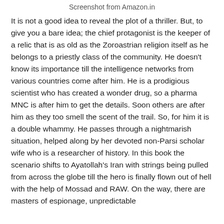Screenshot from Amazon.in
It is not a good idea to reveal the plot of a thriller. But, to give you a bare idea; the chief protagonist is the keeper of a relic that is as old as the Zoroastrian religion itself as he belongs to a priestly class of the community. He doesn't know its importance till the intelligence networks from various countries come after him. He is a prodigious scientist who has created a wonder drug, so a pharma MNC is after him to get the details. Soon others are after him as they too smell the scent of the trail. So, for him it is a double whammy. He passes through a nightmarish situation, helped along by her devoted non-Parsi scholar wife who is a researcher of history. In this book the scenario shifts to Ayatollah's Iran with strings being pulled from across the globe till the hero is finally flown out of hell with the help of Mossad and RAW. On the way, there are masters of espionage, unpredictable